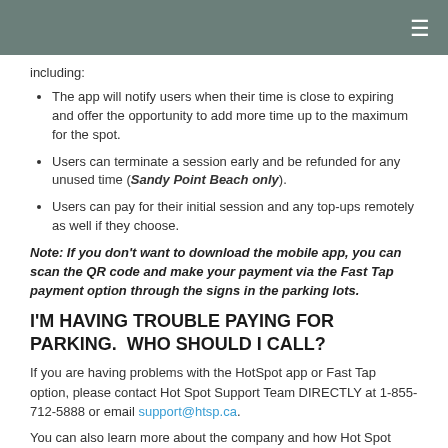including:
The app will notify users when their time is close to expiring and offer the opportunity to add more time up to the maximum for the spot.
Users can terminate a session early and be refunded for any unused time (Sandy Point Beach only).
Users can pay for their initial session and any top-ups remotely as well if they choose.
Note: If you don't want to download the mobile app, you can scan the QR code and make your payment via the Fast Tap payment option through the signs in the parking lots.
I'M HAVING TROUBLE PAYING FOR PARKING. WHO SHOULD I CALL?
If you are having problems with the HotSpot app or Fast Tap option, please contact Hot Spot Support Team DIRECTLY at 1-855-712-5888 or email support@htsp.ca.
You can also learn more about the company and how Hot Spot